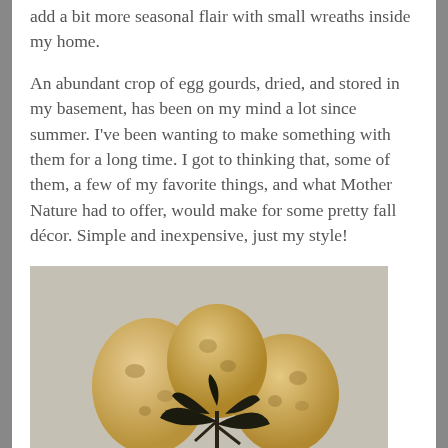add a bit more seasonal flair with small wreaths inside my home.
An abundant crop of egg gourds, dried, and stored in my basement, has been on my mind a lot since summer.  I've been wanting to make something with them for a long time.  I got to thinking that, some of them, a few of my favorite things, and what Mother Nature had to offer, would make for some pretty fall décor. Simple and inexpensive, just my style!
[Figure (photo): Three dried egg gourds with dark leaves arranged on a light gray textured surface]